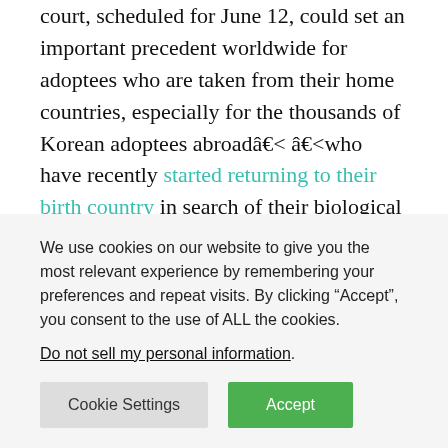court, scheduled for June 12, could set an important precedent worldwide for adoptees who are taken from their home countries, especially for the thousands of Korean adoptees abroadâ¦ â¦who have recently started returning to their birth country in search of their biological parents.
“He was and still is the only link to my mother, which was the purpose of my search,” said Ms. Bos, speaking from Amsterdam, where she has been living with her Dutch husband since 2009. “Only by filing this lawsuit could I prove he was my father and then possibly get the meeting
We use cookies on our website to give you the most relevant experience by remembering your preferences and repeat visits. By clicking “Accept”, you consent to the use of ALL the cookies.
Do not sell my personal information.